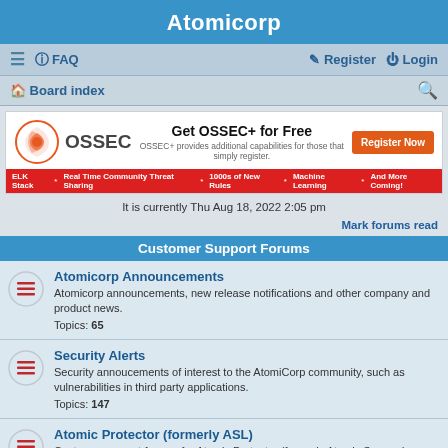Atomicorp
≡  FAQ   Register  Login
Board index
[Figure (screenshot): OSSEC advertisement banner: Get OSSEC+ for Free. OSSEC+ provides additional capabilities for those that simply register. Register Now button. Bottom bar: ELK Stack * Real Time Community Threat Sharing * 1000s of New Rules * Machine Learning * And More Coming!]
It is currently Thu Aug 18, 2022 2:05 pm
Mark forums read
Customer Support Forums
Atomicorp Announcements
Atomicorp announcements, new release notifications and other company and product news.
Topics: 65
Security Alerts
Security annoucements of interest to the AtomiCorp community, such as vulnerabilities in third party applications.
Topics: 147
Atomic Protector (formerly ASL)
Customer support forums for Atomic Protector (formerly Atomic Secured Linux). There is no such thing as a bad question here as long as it pertains to using Atomic Protector. Newbies feel free to get help getting started or asking questions that may be obvious. Regular users are asked to be gentle. 😀
Topics: 494